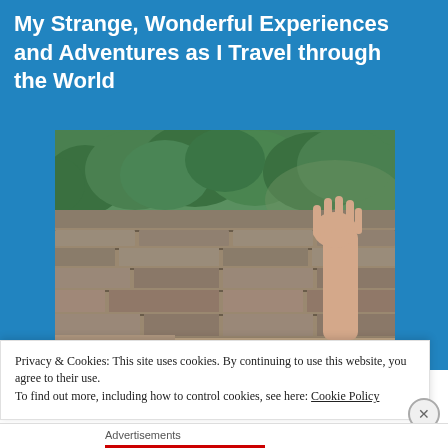My Strange, Wonderful Experiences and Adventures as I Travel through the World
[Figure (photo): A photograph of an ancient stone wall (resembling the Great Wall of China) with lush green trees in the background. A human arm and hand are raised up from behind the wall, waving.]
Privacy & Cookies: This site uses cookies. By continuing to use this website, you agree to their use.
To find out more, including how to control cookies, see here: Cookie Policy
Close and accept
Advertisements